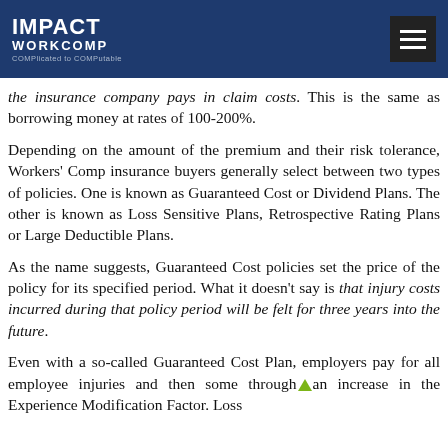IMPACT WORKCOMP — Complicated to COMPutable
the insurance company pays in claim costs. This is the same as borrowing money at rates of 100-200%.
Depending on the amount of the premium and their risk tolerance, Workers' Comp insurance buyers generally select between two types of policies. One is known as Guaranteed Cost or Dividend Plans. The other is known as Loss Sensitive Plans, Retrospective Rating Plans or Large Deductible Plans.
As the name suggests, Guaranteed Cost policies set the price of the policy for its specified period. What it doesn't say is that injury costs incurred during that policy period will be felt for three years into the future.
Even with a so-called Guaranteed Cost Plan, employers pay for all employee injuries and then some through an increase in the Experience Modification Factor. Loss